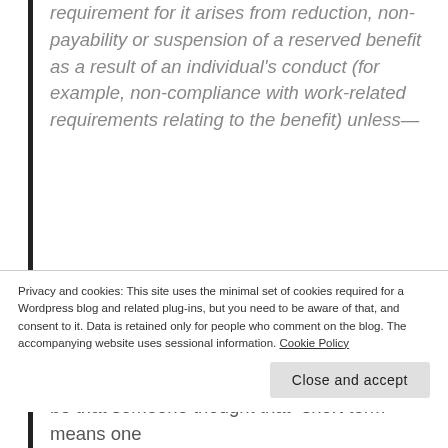requirement for it arises from reduction, non-payability or suspension of a reserved benefit as a result of an individual's conduct (for example, non-compliance with work-related requirements relating to the benefit) unless—
(a) the requirement for it also arises from some exceptional event or exceptional circumstances, and
Privacy and cookies: This site uses the minimal set of cookies required for a Wordpress blog and related plug-ins, but you need to be aware of that, and consent to it. Data is retained only for people who comment on the blog. The accompanying website uses sessional information. Cookie Policy
be that someone thought that "short term" means one